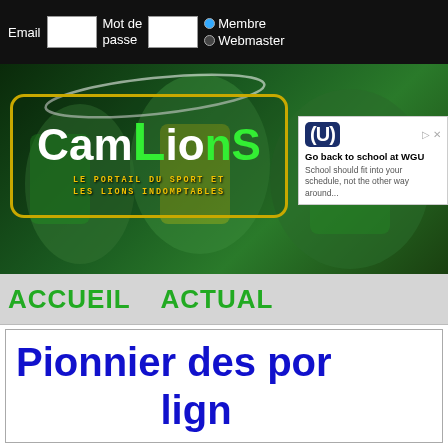Email  Mot de passe  Membre  Webmaster
[Figure (screenshot): CamLions sports portal banner with football players in green, CamLions logo in yellow-bordered box, subtitle 'LE PORTAIL DU SPORT ET LES LIONS INDOMPTABLES', and WGU advertisement overlay]
ACCUEIL   ACTUAL
Pionnier des por... lign...